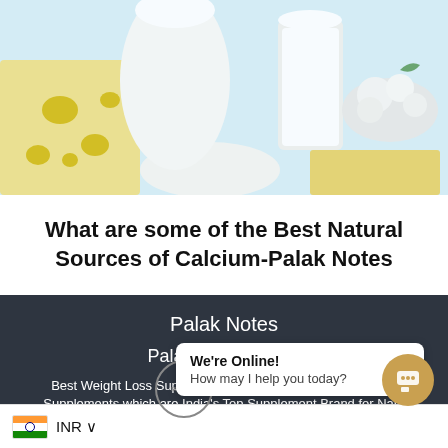[Figure (photo): Photo of various dairy products including cheese blocks, milk jug, glass of milk, mozzarella balls, and soft white cheese arranged on a light blue surface]
What are some of the Best Natural Sources of Calcium-Palak Notes
Palak Notes
Palak Stark Pvt Ltd
Best Weight Loss Supplements for Women & Best Immunity Supplements which are India's Top Supplement Brand for Natu
We're Online! How may I help you today?
INR